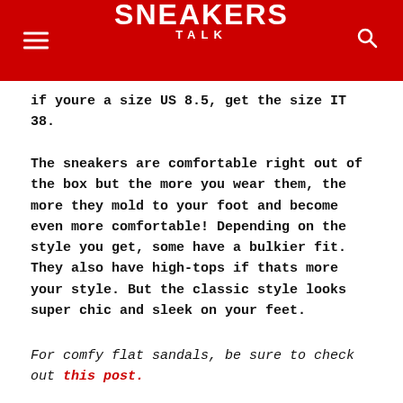SNEAKERS TALK
if youre a size US 8.5, get the size IT 38.
The sneakers are comfortable right out of the box but the more you wear them, the more they mold to your foot and become even more comfortable! Depending on the style you get, some have a bulkier fit. They also have high-tops if thats more your style. But the classic style looks super chic and sleek on your feet.
For comfy flat sandals, be sure to check out this post.
Read Also: How To Make Money Selling Sneakers